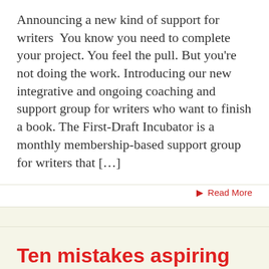Announcing a new kind of support for writers  You know you need to complete your project. You feel the pull. But you're not doing the work. Introducing our new integrative and ongoing coaching and support group for writers who want to finish a book. The First-Draft Incubator is a monthly membership-based support group for writers that […]
Read More
Ten mistakes aspiring creative writers make